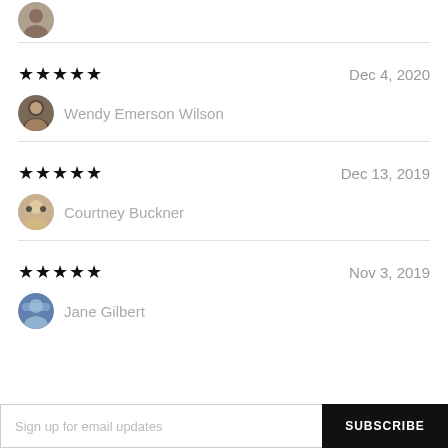[Figure (photo): Partial avatar photo at top of page, cropped reviewer thumbnail]
★★★★★   Dec 4, 2020
Wendy Emerson Wilson
★★★★★   Dec 13, 2019
Courtney Buckner
★★★★★   Nov 3, 2019
Jane Gilbert
Sign up for email updates
SUBSCRIBE